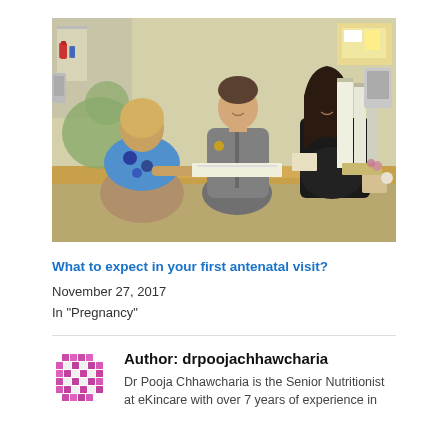[Figure (photo): A midwife or healthcare professional sitting at a desk talking with a pregnant woman and her partner in a medical consultation room. The pregnant woman is wearing a black top and smiling. The partner is wearing a grey zip-up top. The healthcare professional has short blonde hair and a patterned top.]
What to expect in your first antenatal visit?
November 27, 2017
In "Pregnancy"
[Figure (illustration): Author avatar: a pixelated pink/purple mosaic grid icon representing the author drpoojachhawcharia]
Author: drpoojachhawcharia
Dr Pooja Chhawcharia is the Senior Nutritionist at eKincare with over 7 years of experience in